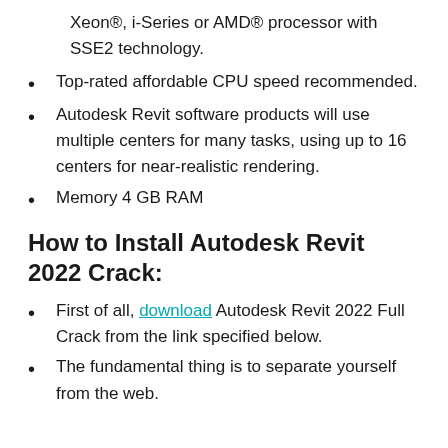Xeon®, i-Series or AMD® processor with SSE2 technology.
Top-rated affordable CPU speed recommended.
Autodesk Revit software products will use multiple centers for many tasks, using up to 16 centers for near-realistic rendering.
Memory 4 GB RAM
How to Install Autodesk Revit 2022 Crack:
First of all, download Autodesk Revit 2022 Full Crack from the link specified below.
The fundamental thing is to separate yourself from the web.